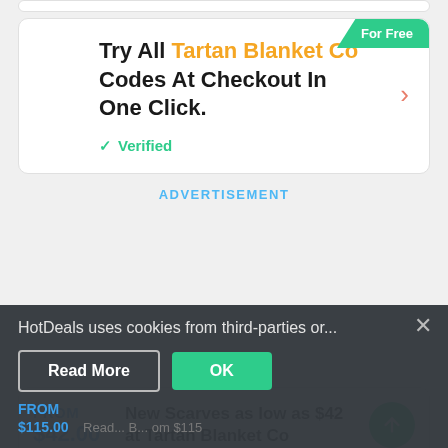Try All Tartan Blanket Co Codes At Checkout In One Click.
✓ Verified
ADVERTISEMENT
FROM $42.00 — New Scarves as low as $42 at Tartan Blanket Co
HotDeals uses cookies from third-parties or...
Read More | OK
FROM $115.00 — Reach... B... om $115